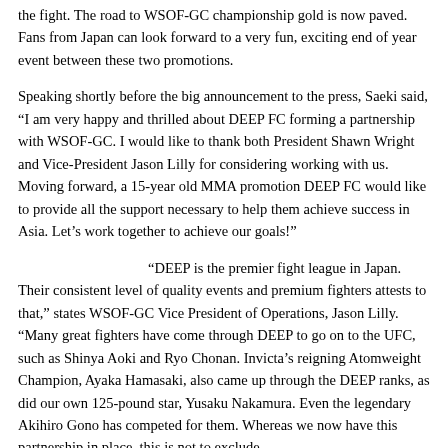the fight. The road to WSOF-GC championship gold is now paved. Fans from Japan can look forward to a very fun, exciting end of year event between these two promotions.
Speaking shortly before the big announcement to the press, Saeki said, “I am very happy and thrilled about DEEP FC forming a partnership with WSOF-GC. I would like to thank both President Shawn Wright and Vice-President Jason Lilly for considering working with us. Moving forward, a 15-year old MMA promotion DEEP FC would like to provide all the support necessary to help them achieve success in Asia. Let’s work together to achieve our goals!”
“DEEP is the premier fight league in Japan. Their consistent level of quality events and premium fighters attests to that,” states WSOF-GC Vice President of Operations, Jason Lilly. “Many great fighters have come through DEEP to go on to the UFC, such as Shinya Aoki and Ryo Chonan. Invicta’s reigning Atomweight Champion, Ayaka Hamasaki, also came up through the DEEP ranks, as did our own 125-pound star, Yusaku Nakamura. Even the legendary Akihiro Gono has competed for them. Whereas we now have this partnership in place, this is not to exclude